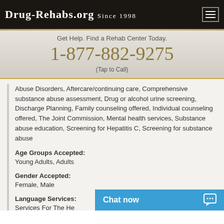Drug-Rehabs.org Since 1998
Get Help. Find a Rehab Center Today.
1-877-882-9275
(Tap to Call)
Abuse Disorders, Aftercare/continuing care, Comprehensive substance abuse assessment, Drug or alcohol urine screening, Discharge Planning, Family counseling offered, Individual counseling offered, The Joint Commission, Mental health services, Substance abuse education, Screening for Hepatitis C, Screening for substance abuse
Age Groups Accepted: Young Adults, Adults
Gender Accepted: Female, Male
Language Services: Services For The He...